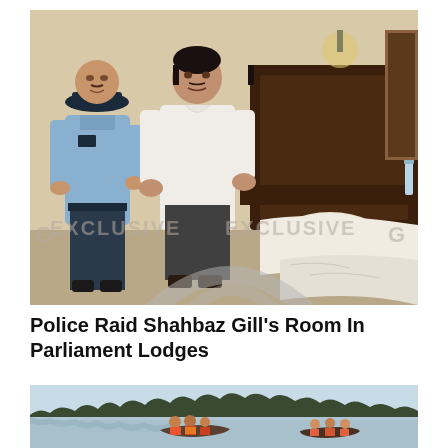[Figure (photo): A police officer in light blue uniform stands next to a man in white shalwar kameez inside a bedroom with a large dark wooden bed, white bedding, and a watermark overlay reading GEO EXCLUSIVE.]
Police Raid Shahbaz Gill’s Room In Parliament Lodges
[Figure (photo): People in a boat on floodwaters with trees and structures visible in the background under a light blue sky.]